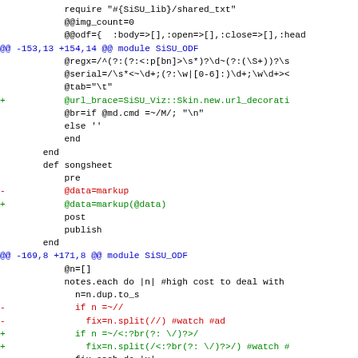Code diff showing changes to SiSU_ODF module including url_brace, markup, and br tag regex modifications